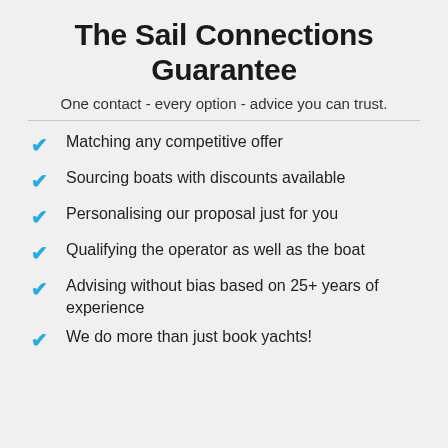The Sail Connections Guarantee
One contact - every option - advice you can trust.
Matching any competitive offer
Sourcing boats with discounts available
Personalising our proposal just for you
Qualifying the operator as well as the boat
Advising without bias based on 25+ years of experience
We do more than just book yachts!